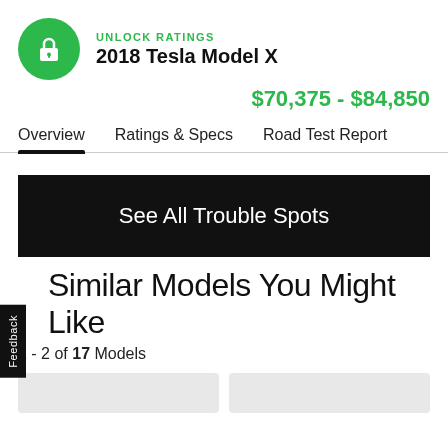UNLOCK RATINGS
2018 Tesla Model X
$70,375 - $84,850
Overview   Ratings & Specs   Road Test Report
See All Trouble Spots
Feedback
Similar Models You Might Like
1 - 2 of 17 Models